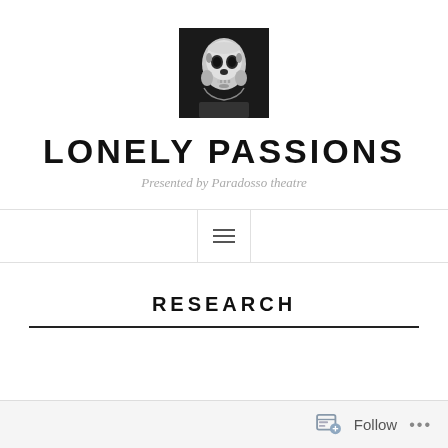[Figure (photo): Black and white photo of a human skull against a dark background, used as a website logo/avatar]
LONELY PASSIONS
Presented by Paradosso theatre
RESEARCH
Follow ...